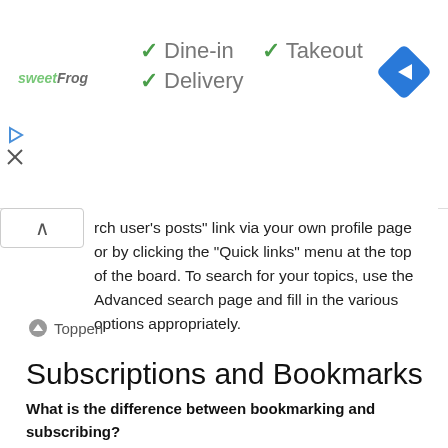[Figure (screenshot): Advertisement banner with sweetFrog logo, checkmarks for Dine-in, Takeout and Delivery, navigation arrow icon on right, and media control icons on left]
rch user's posts" link via your own profile page or by clicking the "Quick links" menu at the top of the board. To search for your topics, use the Advanced search page and fill in the various options appropriately.
⬆ Toppen
Subscriptions and Bookmarks
What is the difference between bookmarking and subscribing?
In phpBB 3.0, bookmarking topics worked much like bookmarking in a web browser. You were not alerted when there was an update. As of phpBB 3.1, bookmarking is more like subscribing to a topic. You can be notified when a bookmarked topic is updated. Subscribing, however, will notify you if there is an update to a topic or forum on the board.